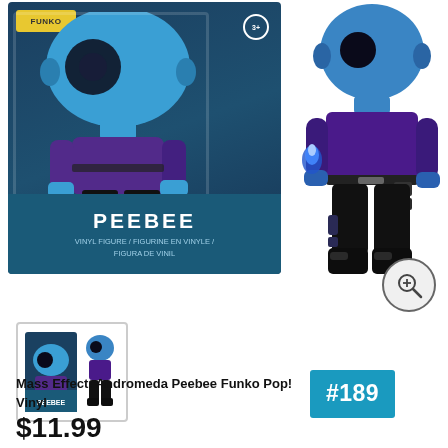[Figure (photo): Funko Pop! vinyl figure product listing showing Mass Effect: Andromeda Peebee (#189). Left side shows the product box with PEEBEE label and vinyl figure inside. Right side shows the standalone figure out of box — a purple and blue character with a flame effect in hand. Below is a thumbnail image of both the box and the figure. Bottom section shows product name, catalog number badge #189, and price $11.99.]
Mass Effect: Andromeda Peebee Funko Pop! Vinyl
#189
$11.99